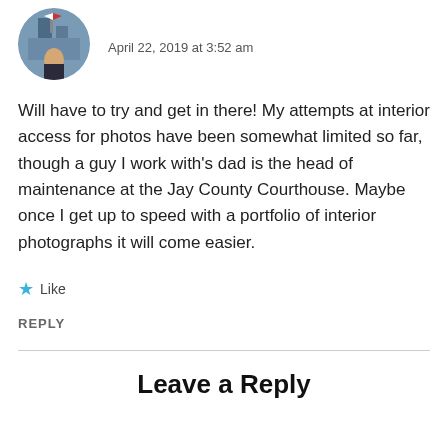[Figure (photo): Circular avatar photo of a person in front of a building with a flag]
April 22, 2019 at 3:52 am
Will have to try and get in there! My attempts at interior access for photos have been somewhat limited so far, though a guy I work with’s dad is the head of maintenance at the Jay County Courthouse. Maybe once I get up to speed with a portfolio of interior photographs it will come easier.
★ Like
REPLY
Leave a Reply